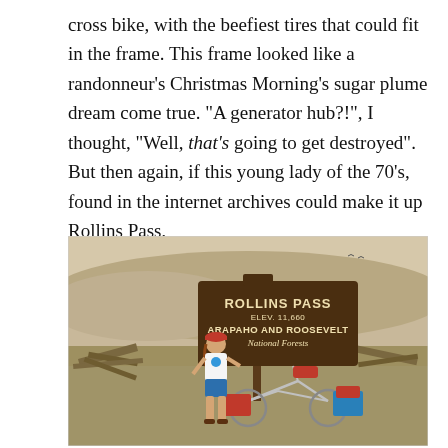cross bike, with the beefiest tires that could fit in the frame. This frame looked like a randonneur's Christmas Morning's sugar plume dream come true. "A generator hub?!", I thought, "Well, that's going to get destroyed". But then again, if this young lady of the 70's, found in the internet archives could make it up Rollins Pass,
[Figure (photo): Vintage photograph of a woman standing next to a touring bicycle loaded with panniers, beside a brown wooden sign reading 'ROLLINS PASS ELEV. 11,660 ARAPAHO AND ROOSEVELT National Forests'. Rocky, open alpine landscape with scattered debris in background.]